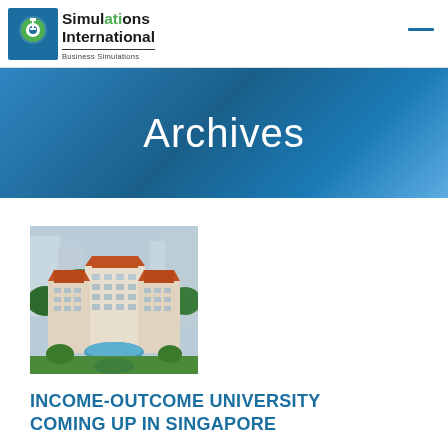Simulations International — Business Simulations
Archives
[Figure (photo): Aerial or elevated view of a luxury hotel complex with terracotta/orange roofs, white Mediterranean-style buildings, tropical greenery and a swimming pool, located in Singapore]
INCOME-OUTCOME UNIVERSITY COMING UP IN SINGAPORE